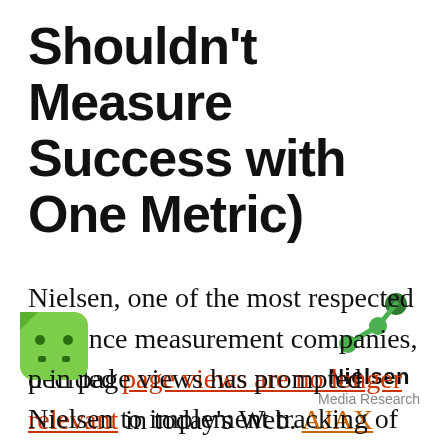Shouldn't Measure Success with One Metric)
[Figure (logo): Nielsen Media Research logo — green network/graph icon above the text 'Nielsen' in bold and 'Media Research' in grey]
Nielsen, one of the most respected audience measurement companies, decided page views are no longer relevant in today's Web. AJAX technology being the primary cause of some provider's [drop] in page views has prompted Nielsen to implement tracking of